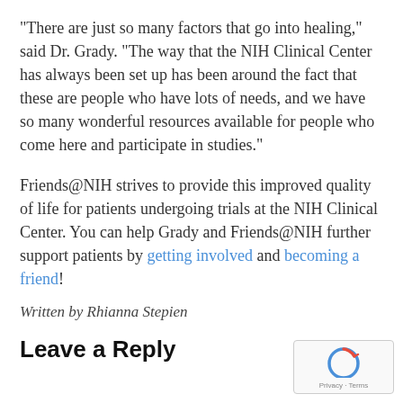“There are just so many factors that go into healing,” said Dr. Grady. “The way that the NIH Clinical Center has always been set up has been around the fact that these are people who have lots of needs, and we have so many wonderful resources available for people who come here and participate in studies.”
Friends@NIH strives to provide this improved quality of life for patients undergoing trials at the NIH Clinical Center. You can help Grady and Friends@NIH further support patients by getting involved and becoming a friend!
Written by Rhianna Stepien
Leave a Reply